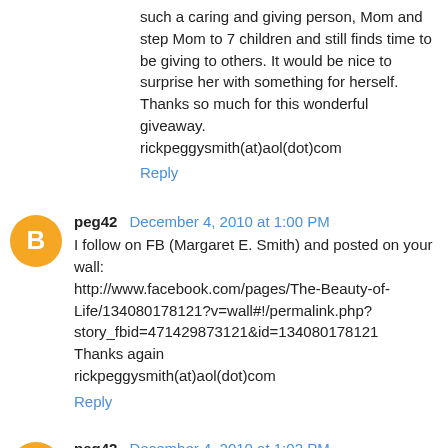such a caring and giving person, Mom and step Mom to 7 children and still finds time to be giving to others. It would be nice to surprise her with something for herself. Thanks so much for this wonderful giveaway. rickpeggysmith(at)aol(dot)com
Reply
peg42 December 4, 2010 at 1:00 PM
I follow on FB (Margaret E. Smith) and posted on your wall: http://www.facebook.com/pages/The-Beauty-of-Life/134080178121?v=wall#!/permalink.php?story_fbid=471429873121&id=134080178121 Thanks again rickpeggysmith(at)aol(dot)com
Reply
peg42 December 4, 2010 at 1:02 PM
Follow on twitter (peg42) and tweeted: http://twitter.com/peg42/status/11163190897410048